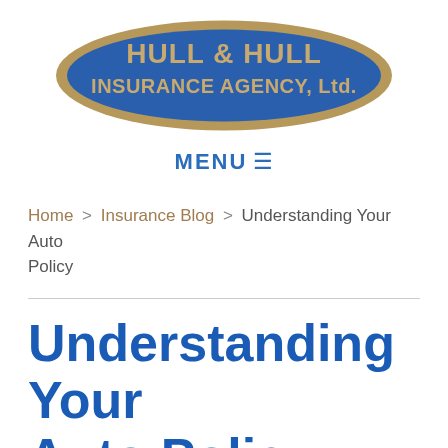[Figure (logo): Hull & Hull Insurance Agency Ltd. logo — blue oval with tan/gold border, white bold text reading HULL & HULL on top line and INSURANCE AGENCY, Ltd. on second line]
MENU ☰
Home > Insurance Blog > Understanding Your Auto Policy
Understanding Your Auto Policy